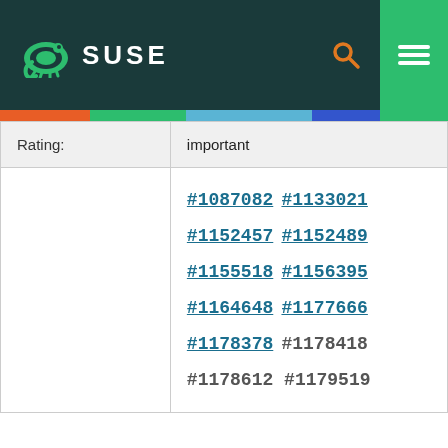SUSE
| Rating: | important |
|  | #1087082 #1133021 #1152457 #1152489 #1155518 #1156395 #1164648 #1177666 #1178378 #1178418 #1178612 #1179519 |
How We Use Cookies
We use cookies to give you a better experience, improve performance and analyze traffic. By using our website you agree to our use of cookies.
View and change cookie preferences >